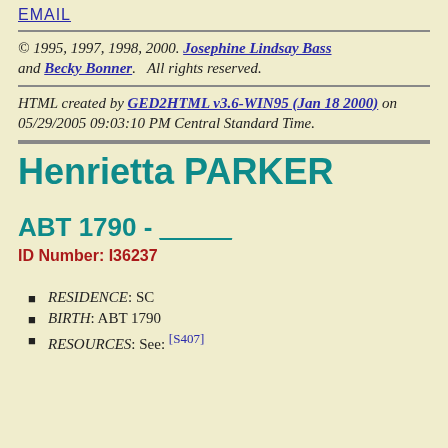EMAIL
© 1995, 1997, 1998, 2000. Josephine Lindsay Bass and Becky Bonner. All rights reserved.
HTML created by GED2HTML v3.6-WIN95 (Jan 18 2000) on 05/29/2005 09:03:10 PM Central Standard Time.
Henrietta PARKER
ABT 1790 - ____
ID Number: I36237
RESIDENCE: SC
BIRTH: ABT 1790
RESOURCES: See: [S407]